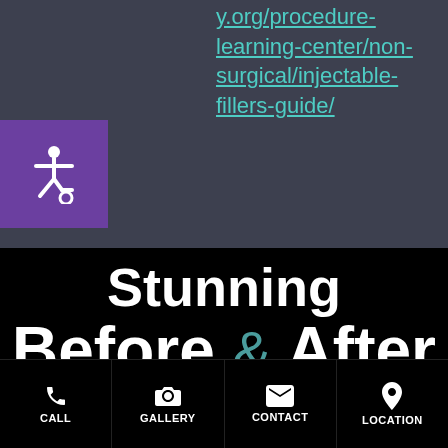y.org/procedure-learning-center/non-surgical/injectable-fillers-guide/
[Figure (other): Accessibility wheelchair icon button in purple square]
Stunning Before & After Photos
CALL | GALLERY | CONTACT | LOCATION